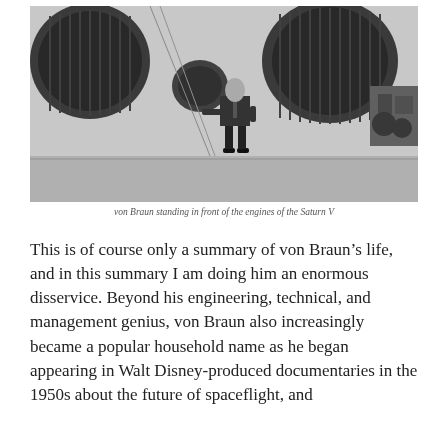[Figure (photo): Black and white photograph of von Braun standing in front of the large engines of the Saturn V rocket.]
von Braun standing in front of the engines of the Saturn V
This is of course only a summary of von Braun’s life, and in this summary I am doing him an enormous disservice. Beyond his engineering, technical, and management genius, von Braun also increasingly became a popular household name as he began appearing in Walt Disney-produced documentaries in the 1950s about the future of spaceflight, and